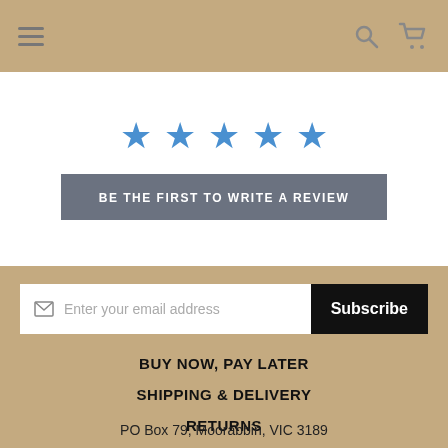Navigation bar with hamburger menu, search icon, and cart icon
[Figure (other): Five blue star rating icons]
BE THE FIRST TO WRITE A REVIEW
Enter your email address | Subscribe
BUY NOW, PAY LATER
SHIPPING & DELIVERY
RETURNS
ACCOUNT
PO Box 79, Moorabbin, VIC 3189